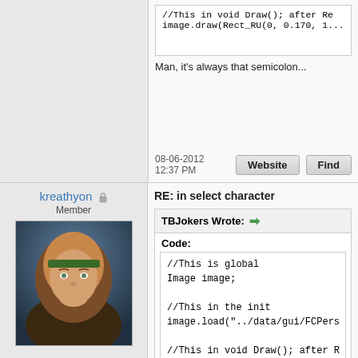//This in void Draw(); after Re
image.draw(Rect_RU(0, 0.170, 1...
Man, it's always that semicolon...
08-06-2012 12:37 PM
kreathyon  Member
[Figure (photo): Avatar of kreathyon: a woman with brown hair and a green headband]
RE: in select character
TBJokers Wrote: →
Code:
//This is global
Image image;

//This in the init
image.load("../data/gui/FCPers...

//This in void Draw(); after R...
image.draw(Rect_RU(0, 0.170, 1...
no change :(
08-06-2012 12:56 PM
TBJokers  Member
RE: in select character
Oh sorry, the image.draw(); needs to be befo...